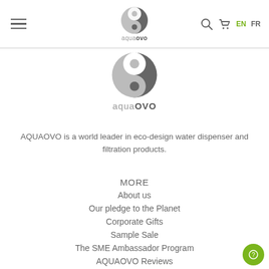aquaOVO navigation bar with hamburger menu, logo, search, cart, EN FR language selector
[Figure (logo): AquaOVO yin-yang style circular logo mark, large centered version]
AQUAOVO is a world leader in eco-design water dispenser and filtration products.
MORE
About us
Our pledge to the Planet
Corporate Gifts
Sample Sale
The SME Ambassador Program
AQUAOVO Reviews